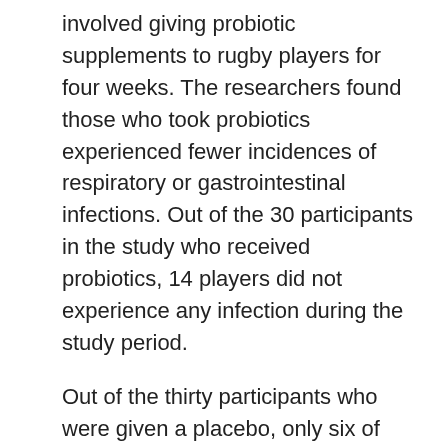involved giving probiotic supplements to rugby players for four weeks. The researchers found those who took probiotics experienced fewer incidences of respiratory or gastrointestinal infections. Out of the 30 participants in the study who received probiotics, 14 players did not experience any infection during the study period.
Out of the thirty participants who were given a placebo, only six of them did not experience any infections during the four-week study period. The researchers also found that probiotics reduced the severity and duration of infections as well.
Probiotics The health information...